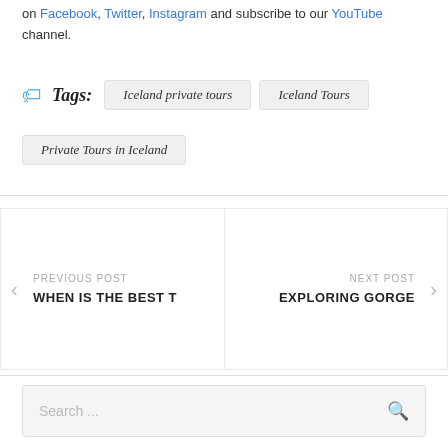on Facebook, Twitter, Instagram and subscribe to our YouTube channel.
Tags: Iceland private tours  Iceland Tours  Private Tours in Iceland
PREVIOUS POST
WHEN IS THE BEST T
NEXT POST
EXPLORING GORGE
Search ...